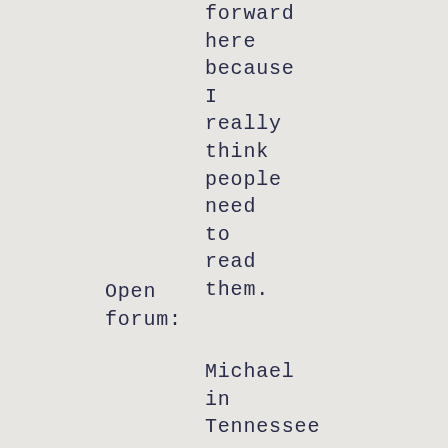forward
here
because
I
really
think
people
need
to
read
them.
Open forum:
Michael
in
Tennessee
came
on
to
talk
about
his
apartment